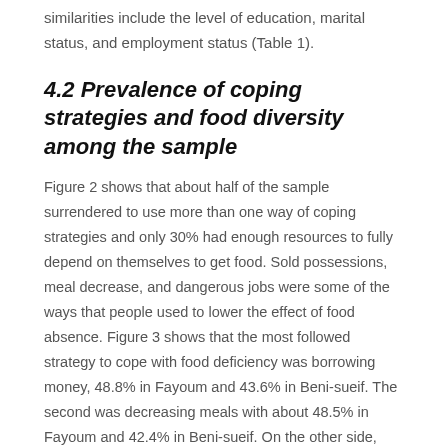similarities include the level of education, marital status, and employment status (Table 1).
4.2 Prevalence of coping strategies and food diversity among the sample
Figure 2 shows that about half of the sample surrendered to use more than one way of coping strategies and only 30% had enough resources to fully depend on themselves to get food. Sold possessions, meal decrease, and dangerous jobs were some of the ways that people used to lower the effect of food absence. Figure 3 shows that the most followed strategy to cope with food deficiency was borrowing money, 48.8% in Fayoum and 43.6% in Beni-sueif. The second was decreasing meals with about 48.5% in Fayoum and 42.4% in Beni-sueif. On the other side, only 25.2% in Fayoum and 20.7% in Beni-